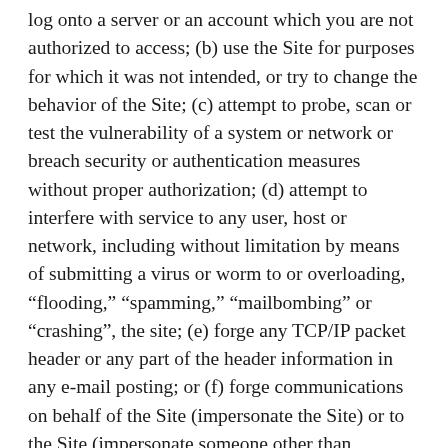log onto a server or an account which you are not authorized to access; (b) use the Site for purposes for which it was not intended, or try to change the behavior of the Site; (c) attempt to probe, scan or test the vulnerability of a system or network or breach security or authentication measures without proper authorization; (d) attempt to interfere with service to any user, host or network, including without limitation by means of submitting a virus or worm to or overloading, “flooding,” “spamming,” “mailbombing” or “crashing”, the site; (e) forge any TCP/IP packet header or any part of the header information in any e-mail posting; or (f) forge communications on behalf of the Site (impersonate the Site) or to the Site (impersonate someone other than yourself). You may not send unsolicited and unauthorized e-mail on behalf of Fine